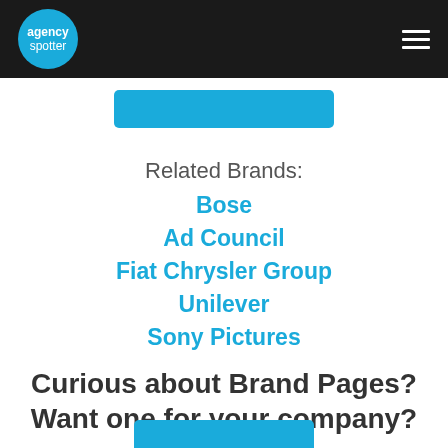agency spotter
Related Brands:
Bose
Ad Council
Fiat Chrysler Group
Unilever
Sony Pictures
Curious about Brand Pages? Want one for your company?